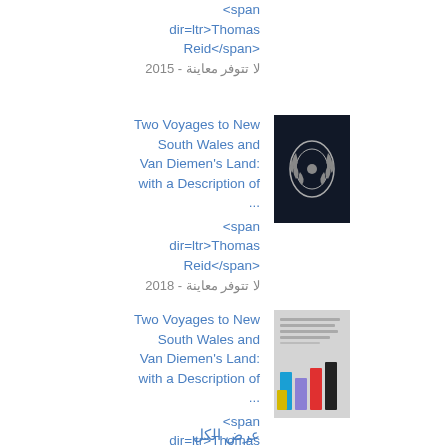<span dir=ltr>Thomas Reid</span>
لا تتوفر معاينة - 2015
Two Voyages to New South Wales and Van Diemen's Land: with a Description of ...
[Figure (photo): Dark book cover with laurel wreath emblem]
<span dir=ltr>Thomas Reid</span>
لا تتوفر معاينة - 2018
Two Voyages to New South Wales and Van Diemen's Land: with a Description of ...
[Figure (photo): Book cover with colorful vertical bars (blue, purple, red, black, yellow)]
<span dir=ltr>Thomas Reid</span>
لا تتوفر معاينة - 2019
عرض الكل